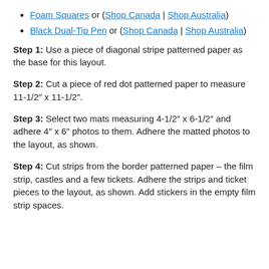Foam Squares or (Shop Canada | Shop Australia)
Black Dual-Tip Pen or (Shop Canada | Shop Australia)
Step 1: Use a piece of diagonal stripe patterned paper as the base for this layout.
Step 2: Cut a piece of red dot patterned paper to measure 11-1/2″ x 11-1/2″.
Step 3: Select two mats measuring 4-1/2″ x 6-1/2″ and adhere 4″ x 6″ photos to them. Adhere the matted photos to the layout, as shown.
Step 4: Cut strips from the border patterned paper – the film strip, castles and a few tickets. Adhere the strips and ticket pieces to the layout, as shown. Add stickers in the empty film strip spaces.